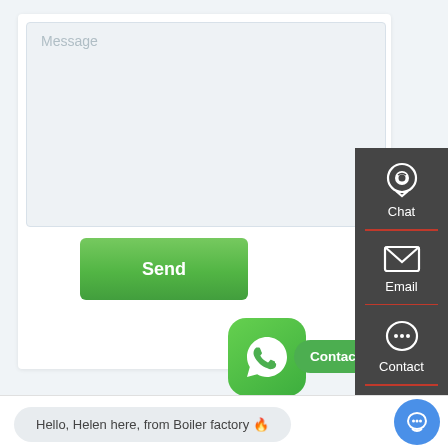[Figure (screenshot): Website contact form screenshot showing a message textarea with placeholder text 'Message', a green 'Send' button, a WhatsApp icon button with 'Contact us now!' speech bubble, a dark sidebar with Chat/Email/Contact/Top navigation items, and a live chat bar at the bottom reading 'Hello, Helen here, from Boiler factory 🔥']